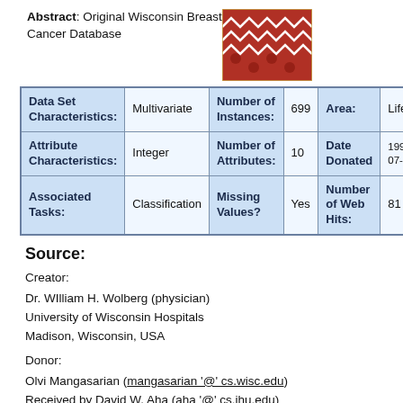Abstract: Original Wisconsin Breast Cancer Database
[Figure (illustration): Decorative patterned image with red/pink background and white arrow/heart shapes]
| Data Set Characteristics: | Multivariate | Number of Instances: | 699 | Area: | Life |
| --- | --- | --- | --- | --- | --- |
| Data Set Characteristics: | Multivariate | Number of Instances: | 699 | Area: | Life |
| Attribute Characteristics: | Integer | Number of Attributes: | 10 | Date Donated | 199-07- |
| Associated Tasks: | Classification | Missing Values? | Yes | Number of Web Hits: | 81 |
Source:
Creator:
Dr. William H. Wolberg (physician)
University of Wisconsin Hospitals
Madison, Wisconsin, USA
Donor:
Olvi Mangasarian (mangasarian '@' cs.wisc.edu)
Received by David W. Aha (aha '@' cs.jhu.edu)